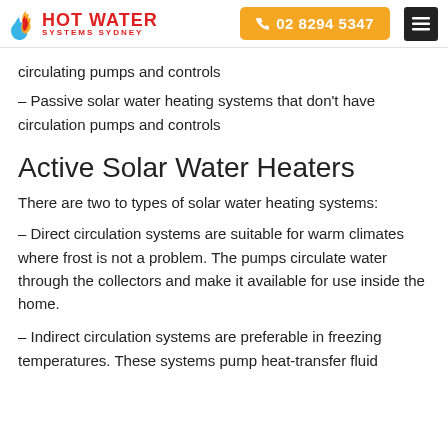HOT WATER SYSTEMS SYDNEY | 02 8294 5347
circulating pumps and controls
– Passive solar water heating systems that don't have circulation pumps and controls
Active Solar Water Heaters
There are two to types of solar water heating systems:
– Direct circulation systems are suitable for warm climates where frost is not a problem. The pumps circulate water through the collectors and make it available for use inside the home.
– Indirect circulation systems are preferable in freezing temperatures. These systems pump heat-transfer fluid